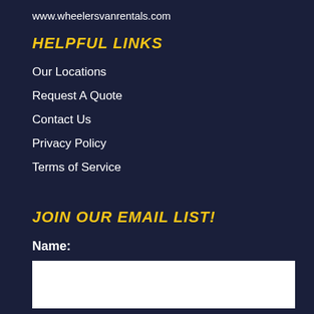www.wheelersvanrentals.com
HELPFUL LINKS
Our Locations
Request A Quote
Contact Us
Privacy Policy
Terms of Service
JOIN OUR EMAIL LIST!
Name:
Email: